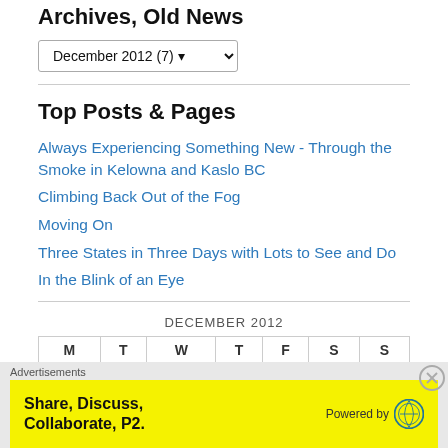Archives, Old News
[Figure (screenshot): Dropdown select showing 'December 2012 (7)']
Top Posts & Pages
Always Experiencing Something New - Through the Smoke in Kelowna and Kaslo BC
Climbing Back Out of the Fog
Moving On
Three States in Three Days with Lots to See and Do
In the Blink of an Eye
| DECEMBER 2012 |  |  |  |  |  |  |
| --- | --- | --- | --- | --- | --- | --- |
| M | T | W | T | F | S | S |
Advertisements
[Figure (screenshot): Yellow advertisement banner: Share, Discuss, Collaborate, P2. Powered by WordPress logo]